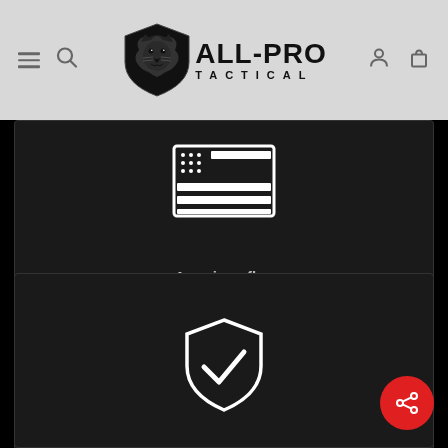[Figure (logo): All-Pro Tactical logo with lion shield and text ALL-PRO TACTICAL in navigation bar]
[Figure (illustration): American flag icon (white outline, simplified stars and stripes) on dark card background]
American flag Rip-n-Stick™ Pride Patch always included.
[Figure (illustration): Shield with checkmark icon (white outline) on dark card background]
Every All-Pro bag is backed by a lifetime guarantee.